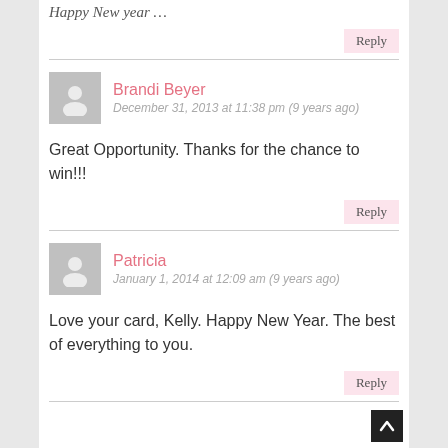Happy New year …
Reply
Brandi Beyer
December 31, 2013 at 11:38 pm (9 years ago)
Great Opportunity. Thanks for the chance to win!!!
Reply
Patricia
January 1, 2014 at 12:09 am (9 years ago)
Love your card, Kelly. Happy New Year. The best of everything to you.
Reply